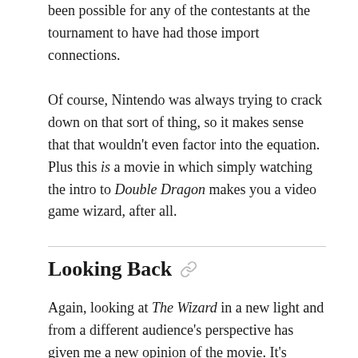been possible for any of the contestants at the tournament to have had those import connections.
Of course, Nintendo was always trying to crack down on that sort of thing, so it makes sense that that wouldn't even factor into the equation. Plus this is a movie in which simply watching the intro to Double Dragon makes you a video game wizard, after all.
Looking Back
Again, looking at The Wizard in a new light and from a different audience's perspective has given me a new opinion of the movie. It's undeniably a vehicle for advertising Nintendo products,